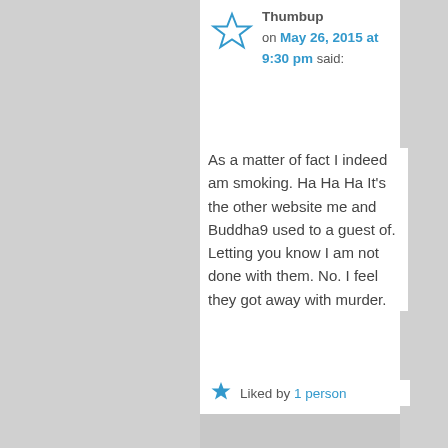[Figure (illustration): Blue outlined star icon (unfilled/outline style) representing a user avatar]
Thumbup on May 26, 2015 at 9:30 pm said:
As a matter of fact I indeed am smoking. Ha Ha Ha It's the other website me and Buddha9 used to a guest of. Letting you know I am not done with them. No. I feel they got away with murder.
[Figure (illustration): Blue filled star icon representing a like/rating]
Liked by 1 person